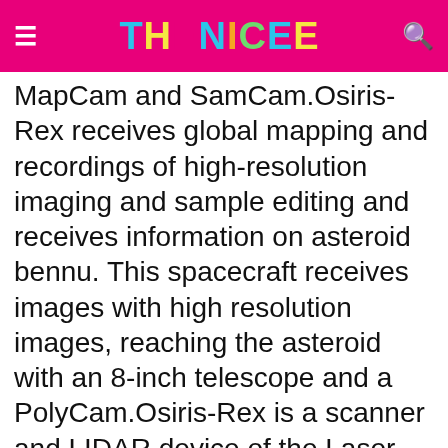THENICEE
MapCam and SamCam.Osiris-Rex receives global mapping and recordings of high-resolution imaging and sample editing and receives information on asteroid bennu. This spacecraft receives images with high resolution images, reaching the asteroid with an 8-inch telescope and a PolyCam.Osiris-Rex is a scanner and LIDAR device of the Laser Altimeter, through which high-resolution topographical information is provided during the entire mission. The spacecraft Thermal Emission Spectrometer collects the thermal emission spectral data from 4-50 μm, including mineral and thermal emission spectroscopic maps and the candidate provides the local statistical information of sample sites.Osiris-Rex is known as NASA's first asteroid sample return mission. Visible